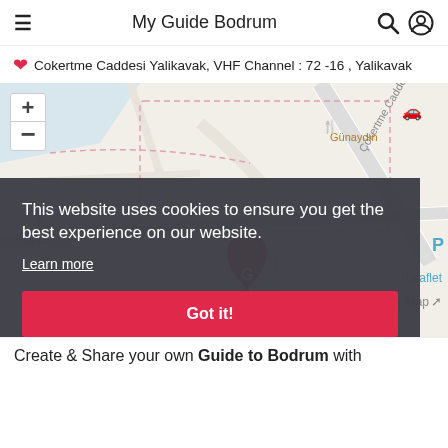My Guide Bodrum
Cokertme Caddesi Yalikavak, VHF Channel : 72 -16 , Yalikavak
[Figure (map): Street map showing location on Cokertme Caddesi Yalikavak with a pink G pin marker, zoom controls, restaurant icons, and street labels including Çökertme Caddesi and Günaydın.]
This website uses cookies to ensure you get the best experience on our website.
Learn more
Got it!
Create & Share your own Guide to Bodrum with